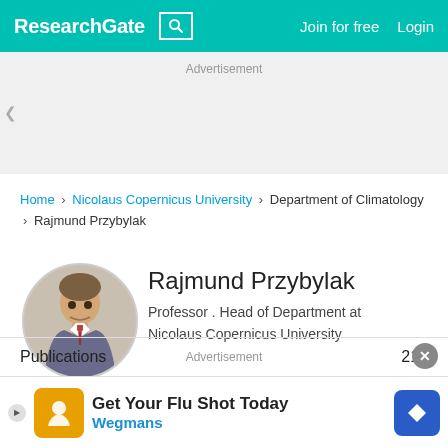ResearchGate  Join for free  Login
Advertisement
Home > Nicolaus Copernicus University > Department of Climatology > Rajmund Przybylak
Rajmund Przybylak
Professor . Head of Department at Nicolaus Copernicus University
[Figure (photo): Profile photo of Rajmund Przybylak, a man in a suit with a tie]
Publications  Advertisement  216
[Figure (infographic): Advertisement banner: Get Your Flu Shot Today - Wegmans]